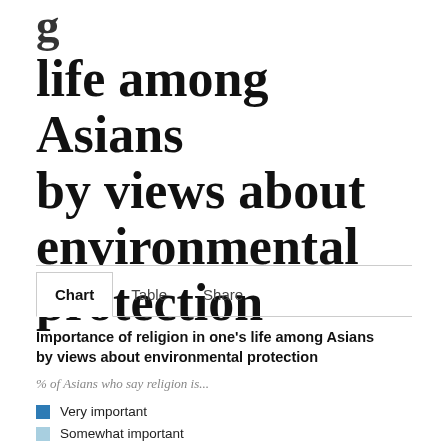g life among Asians by views about environmental protection
Chart   Table   Share
Importance of religion in one's life among Asians by views about environmental protection
% of Asians who say religion is...
Very important
Somewhat important
Not too important